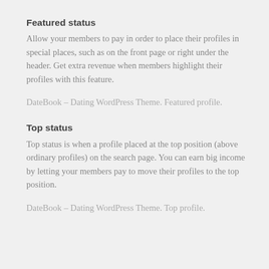Featured status
Allow your members to pay in order to place their profiles in special places, such as on the front page or right under the header. Get extra revenue when members highlight their profiles with this feature.
DateBook – Dating WordPress Theme. Featured profile.
Top status
Top status is when a profile placed at the top position (above ordinary profiles) on the search page. You can earn big income by letting your members pay to move their profiles to the top position.
DateBook – Dating WordPress Theme. Top profile.